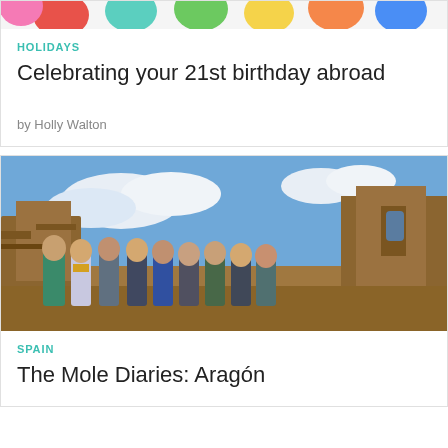[Figure (photo): Partial top of colorful balloons image, cropped]
HOLIDAYS
Celebrating your 21st birthday abroad
by Holly Walton
[Figure (photo): Group of young women standing in front of ancient stone ruins in Aragón, Spain. Blue sky with clouds in the background.]
SPAIN
The Mole Diaries: Aragón